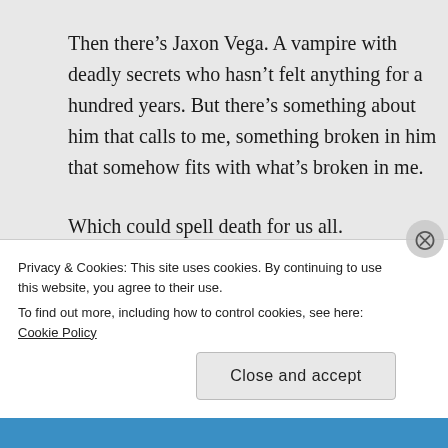Then there's Jaxon Vega. A vampire with deadly secrets who hasn't felt anything for a hundred years. But there's something about him that calls to me, something broken in him that somehow fits with what's broken in me.
Which could spell death for us all.
Because Jaxon walled himself off for a
Privacy & Cookies: This site uses cookies. By continuing to use this website, you agree to their use.
To find out more, including how to control cookies, see here: Cookie Policy
Close and accept